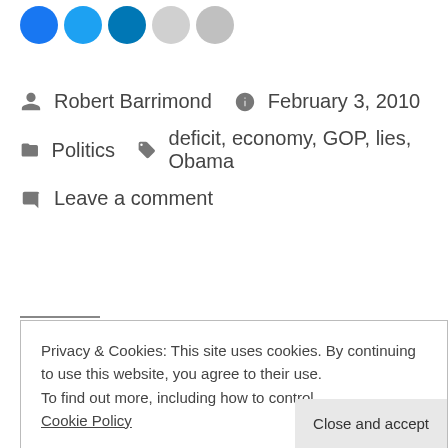[Figure (other): Social share icon circles: blue Facebook, blue Twitter, blue LinkedIn, gray icons]
Robert Barrimond   February 3, 2010
Politics   deficit, economy, GOP, lies, Obama
Leave a comment
Privacy & Cookies: This site uses cookies. By continuing to use this website, you agree to their use. To find out more, including how to control Cookie Policy
Close and accept